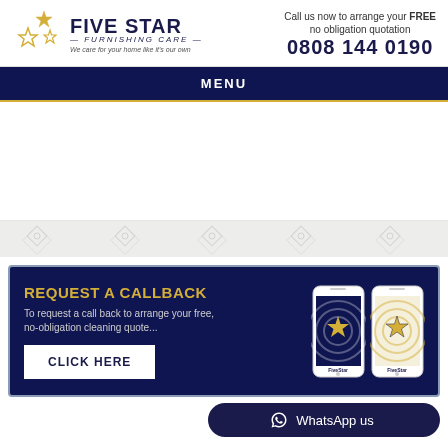[Figure (logo): Five Star Furnishing Care logo with gold stars and company name]
Call us now to arrange your FREE no obligation quotation
0808 144 0190
MENU
[Figure (illustration): Decorative diamond/snowflake pattern strip in light grey]
REQUEST A CALLBACK
To request a call back to arrange your free, no-obligation cleaning quote...
CLICK HERE
[Figure (photo): Two smartphones displaying Five Star app with star logo on navy and gold design]
WhatsApp us
Areas We Cover: